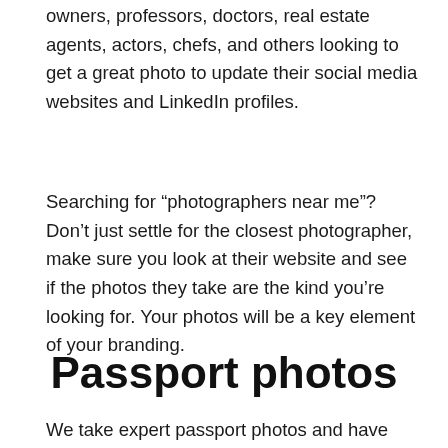owners, professors, doctors, real estate agents, actors, chefs, and others looking to get a great photo to update their social media websites and LinkedIn profiles.
Searching for “photographers near me”? Don’t just settle for the closest photographer, make sure you look at their website and see if the photos they take are the kind you’re looking for. Your photos will be a key element of your branding.
Passport photos
We take expert passport photos and have templates